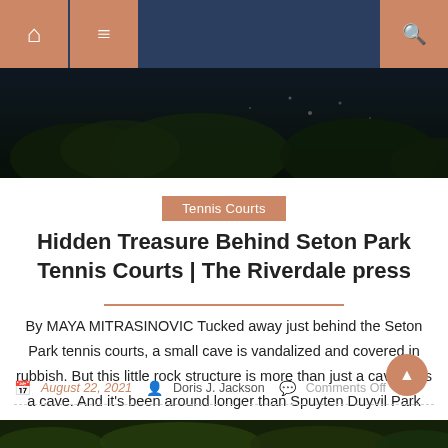Navigation bar with home icon, menu icon, and search icon
[Figure (photo): Dark nighttime aerial or landscape photo with trees and city lights in background, hero image banner]
Tennis Courts
Hidden Treasure Behind Seton Park Tennis Courts | The Riverdale press
By MAYA MITRASINOVIC Tucked away just behind the Seton Park tennis courts, a small cave is vandalized and covered in rubbish. But this little rock structure is more than just a cave – it's a cave. And it's been around longer than Spuyten Duyvil Park itself. He spiritually guarded the Seton Hospital on the site [...]
August 22, 2021  Doris J. Jackson  Comments Off
[Figure (photo): Green foliage/trees photo strip at bottom of page]